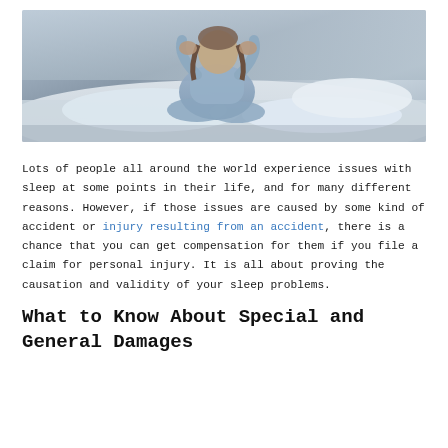[Figure (photo): A person in light blue pajamas sitting on a bed with white bedding, head in hands, appearing distressed. Room has soft blue-grey tones.]
Lots of people all around the world experience issues with sleep at some points in their life, and for many different reasons. However, if those issues are caused by some kind of accident or injury resulting from an accident, there is a chance that you can get compensation for them if you file a claim for personal injury. It is all about proving the causation and validity of your sleep problems.
What to Know About Special and General Damages